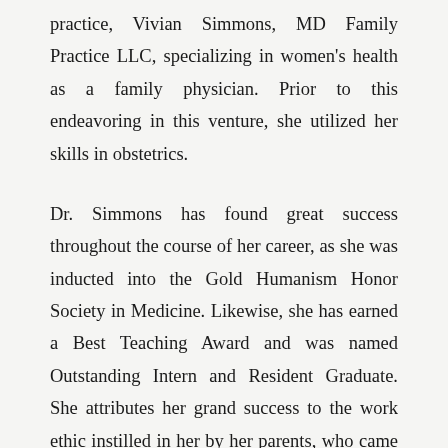practice, Vivian Simmons, MD Family Practice LLC, specializing in women's health as a family physician. Prior to this endeavoring in this venture, she utilized her skills in obstetrics.
Dr. Simmons has found great success throughout the course of her career, as she was inducted into the Gold Humanism Honor Society in Medicine. Likewise, she has earned a Best Teaching Award and was named Outstanding Intern and Resident Graduate. She attributes her grand success to the work ethic instilled in her by her parents, who came from their respective foreign countries to the United States to pursue education and professional